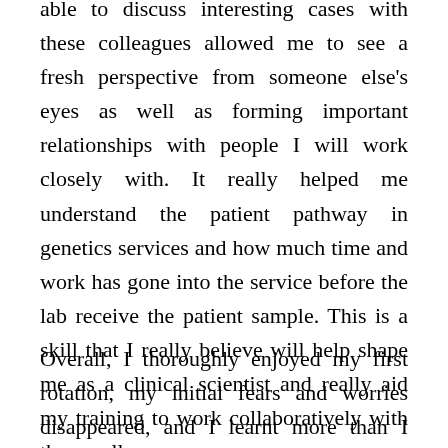able to discuss interesting cases with these colleagues allowed me to see a fresh perspective from someone else's eyes as well as forming important relationships with people I will work closely with. It really helped me understand the patient pathway in genetics services and how much time and work has gone into the service before the lab receive the patient sample. This is a skill that I really believe will help shape me as a clinical scientist and really aid my training to work collaboratively with these colleagues.
Overall, I thoroughly enjoyed my first rotation, my initial fears and worries disappeared, and I learnt more than I thought I would. I believe I gained invaluable experiences and found a whole new appreciation for other colleagues and the work